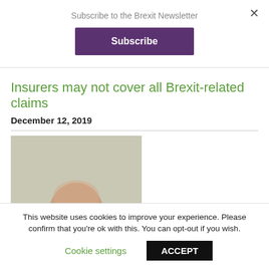Subscribe to the Brexit Newsletter
Subscribe
Insurers may not cover all Brexit-related claims
December 12, 2019
[Figure (photo): A middle-aged bald man wearing a dark t-shirt, photographed from the chest up against a neutral background.]
This website uses cookies to improve your experience. Please confirm that you're ok with this. You can opt-out if you wish.
Cookie settings
ACCEPT